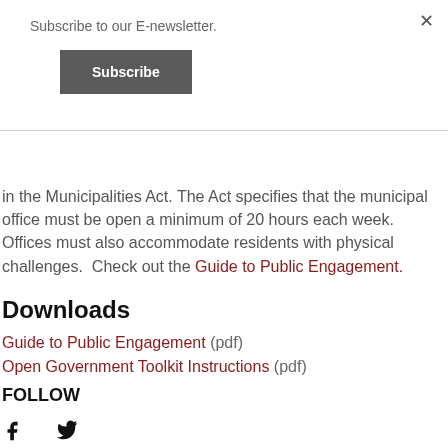Subscribe to our E-newsletter.
Subscribe
in the Municipalities Act. The Act specifies that the municipal office must be open a minimum of 20 hours each week. Offices must also accommodate residents with physical challenges.  Check out the Guide to Public Engagement.
Downloads
Guide to Public Engagement (pdf)
Open Government Toolkit Instructions (pdf)
FOLLOW
[Figure (illustration): Facebook and Twitter social media icons]